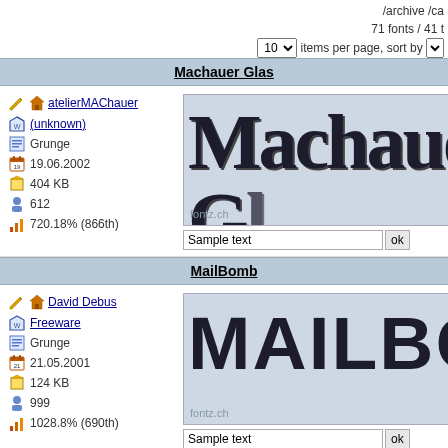/archive /ca
71 fonts / 41 t
10 items per page, sort by
Machauer Glas
atelierMAChauer
(unknown)
Grunge
19.06.2002
404 KB
612
720.18% (866th)
[Figure (screenshot): Font preview showing 'Machauer Gl' in large bold grunge style text with fontz.ch watermark]
Sample text
MailBomb
David Debus
Freeware
Grunge
21.05.2001
124 KB
999
1028.8% (690th)
[Figure (screenshot): Font preview showing 'MAILBOM' in large bold distressed style text with fontz.ch watermark]
Sample text
Mark
Mike Lecky
Freeware
[Figure (screenshot): Font preview showing bold grunge mark font text]